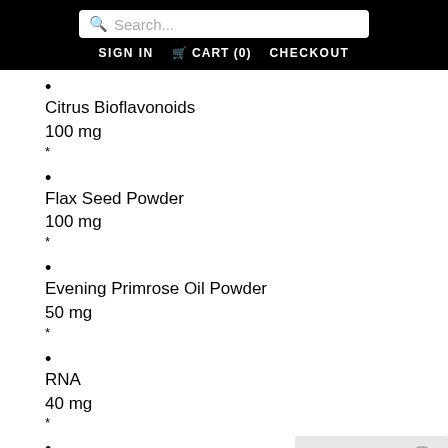Search... | SIGN IN | CART (0) | CHECKOUT
Citrus Bioflavonoids
100 mg
*
Flax Seed Powder
100 mg
*
Evening Primrose Oil Powder
50 mg
*
RNA
40 mg
*
Quercetin